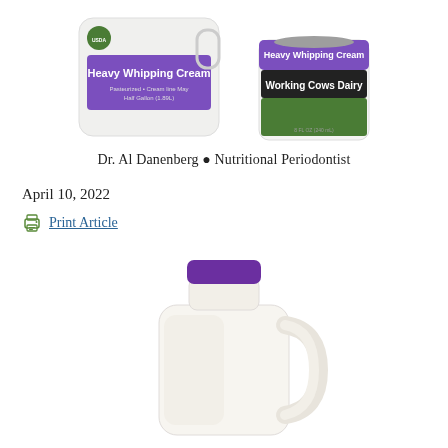[Figure (photo): Two dairy product containers: a large jug and a small jar, both labeled Heavy Whipping Cream and Working Cows Dairy, with purple and green labels]
Dr. Al Danenberg • Nutritional Periodontist
April 10, 2022
Print Article
[Figure (photo): A white plastic half-gallon milk jug with a purple cap, containing cream or milk, on white background]